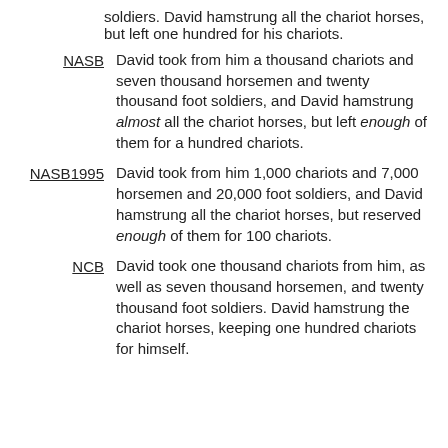soldiers. David hamstrung all the chariot horses, but left one hundred for his chariots.
NASB — David took from him a thousand chariots and seven thousand horsemen and twenty thousand foot soldiers, and David hamstrung almost all the chariot horses, but left enough of them for a hundred chariots.
NASB1995 — David took from him 1,000 chariots and 7,000 horsemen and 20,000 foot soldiers, and David hamstrung all the chariot horses, but reserved enough of them for 100 chariots.
NCB — David took one thousand chariots from him, as well as seven thousand horsemen, and twenty thousand foot soldiers. David hamstrung the chariot horses, keeping one hundred chariots for himself.